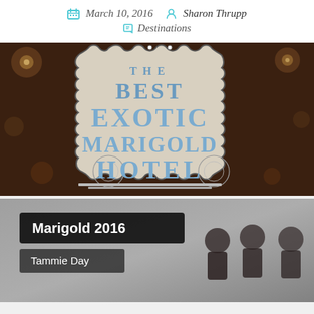March 10, 2016   Sharon Thrupp   Destinations
[Figure (photo): Sign reading THE BEST EXOTIC MARIGOLD HOTEL in blue text on a light background with decorative border, against a dark brown/bokeh background]
[Figure (screenshot): Video thumbnail with dark overlay showing silhouettes, with overlaid text labels 'Marigold 2016' and 'Tammie Day']